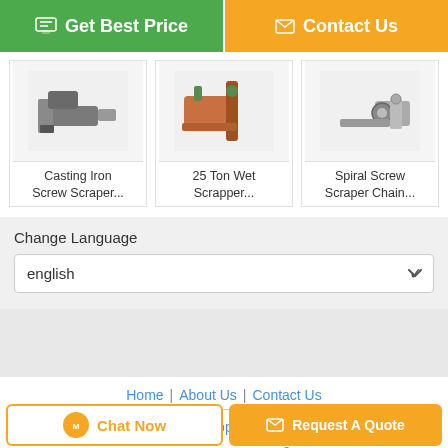[Figure (screenshot): Get Best Price button (green) and Contact Us button (orange) at top]
[Figure (photo): Casting Iron Screw Scraper product image]
Casting Iron Screw Scraper...
[Figure (photo): 25 Ton Wet Scrapper product image]
25 Ton Wet Scrapper...
[Figure (photo): Spiral Screw Scraper Chain product image]
Spiral Screw Scraper Chain...
Change Language
english
Home | About Us | Contact Us
Desktop View
China boiler ash conveyor Supplier. Copyright © 2019 - 2022 horizontal-steamboiler.com. All rights reserved. Developed by ECER
Chat Now
Request A Quote